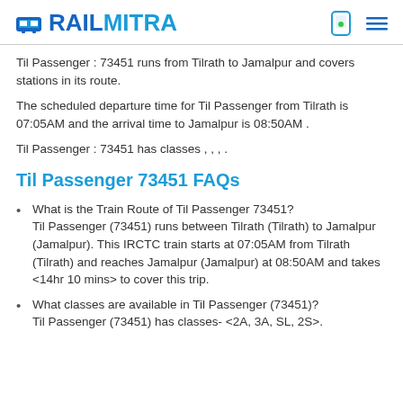RAILMITRA
Til Passenger : 73451 runs from Tilrath to Jamalpur and covers stations in its route.
The scheduled departure time for Til Passenger from Tilrath is 07:05AM and the arrival time to Jamalpur is 08:50AM .
Til Passenger : 73451 has classes , , , .
Til Passenger 73451 FAQs
What is the Train Route of Til Passenger 73451? Til Passenger (73451) runs between Tilrath (Tilrath) to Jamalpur (Jamalpur). This IRCTC train starts at 07:05AM from Tilrath (Tilrath) and reaches Jamalpur (Jamalpur) at 08:50AM and takes <14hr 10 mins> to cover this trip.
What classes are available in Til Passenger (73451)? Til Passenger (73451) has classes- <2A, 3A, SL, 2S>.